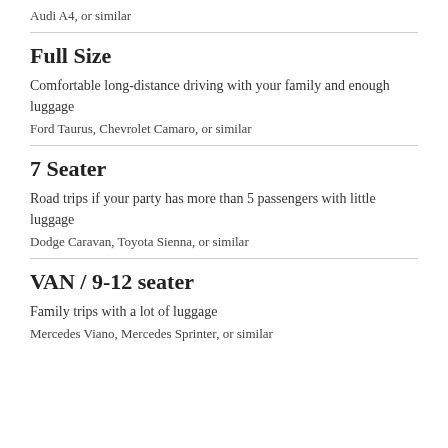Audi A4, or similar
Full Size
Comfortable long-distance driving with your family and enough luggage
Ford Taurus, Chevrolet Camaro, or similar
7 Seater
Road trips if your party has more than 5 passengers with little luggage
Dodge Caravan, Toyota Sienna, or similar
VAN / 9-12 seater
Family trips with a lot of luggage
Mercedes Viano, Mercedes Sprinter, or similar